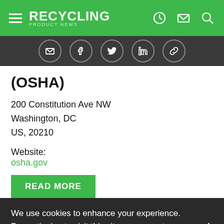RECYCLING PRODUCT NEWS
(OSHA)
200 Constitution Ave NW
Washington, DC
US, 20210
Website:
osha.gov
READ MORE
We use cookies to enhance your experience. By continuing to visit this site you agree to our use of cookies.
More info
GOT IT!